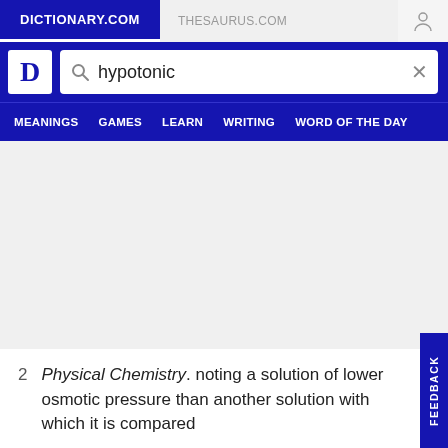DICTIONARY.COM | THESAURUS.COM
hypotonic
MEANINGS  GAMES  LEARN  WRITING  WORD OF THE DAY
2  Physical Chemistry. noting a solution of lower osmotic pressure than another solution with which it is compared